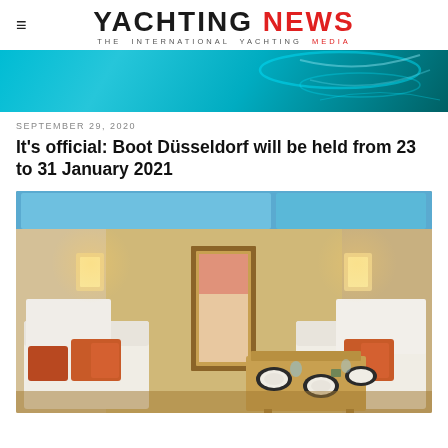YACHTING NEWS — THE INTERNATIONAL YACHTING MEDIA
[Figure (photo): Banner/header decorative image with teal/blue aquatic abstract background]
SEPTEMBER 29, 2020
It's official: Boot Düsseldorf will be held from 23 to 31 January 2021
[Figure (photo): Interior photo of a luxury yacht salon showing cream leather seating with orange accent cushions on the left, a dining table set with plates and glasses on the right, warm ambient lighting, wood accents, and a view through a doorway to the forward cabin with blue sky/sea visible through upper windows]